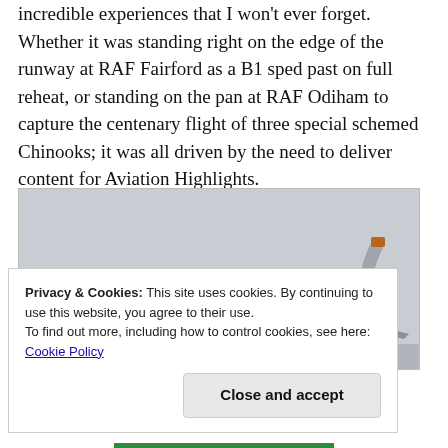incredible experiences that I won't ever forget. Whether it was standing right on the edge of the runway at RAF Fairford as a B1 sped past on full reheat, or standing on the pan at RAF Odiham to capture the centenary flight of three special schemed Chinooks; it was all driven by the need to deliver content for Aviation Highlights.
[Figure (photo): A B1 Lancer bomber aircraft photographed from the side at low altitude against an overcast grey sky, showing the swept-wing profile and tail section.]
Privacy & Cookies: This site uses cookies. By continuing to use this website, you agree to their use.
To find out more, including how to control cookies, see here: Cookie Policy
Close and accept